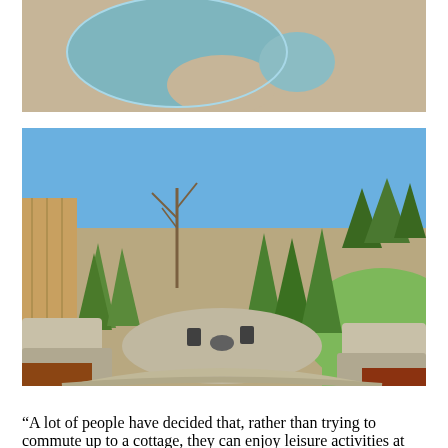[Figure (photo): Aerial view of a swimming pool with spa and surrounding stone/concrete deck area]
[Figure (photo): Outdoor backyard landscaping photo showing a gravel patio area with fire pit and chairs, surrounded by cedar/arborvitae trees, stone retaining walls, mulch beds, wooden fence, and green lawn with pine trees in the background under a blue sky]
“A lot of people have decided that, rather than trying to commute up to a cottage, they can enjoy leisure activities at home. This property is a great example of